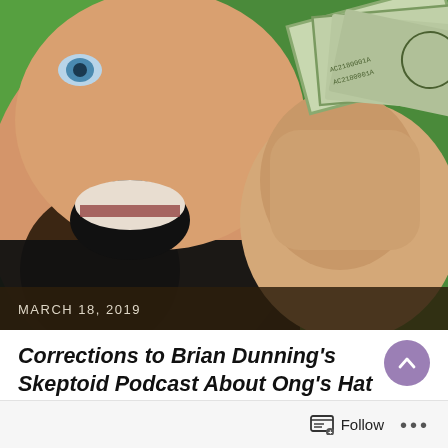[Figure (photo): A man grinning widely while holding up a fanned-out stack of US dollar bills toward the camera, against a bright green background. Close-up shot showing the lower face, hand, and money prominently.]
MARCH 18, 2019
Corrections to Brian Dunning's Skeptoid Podcast About Ong's Hat
Follow